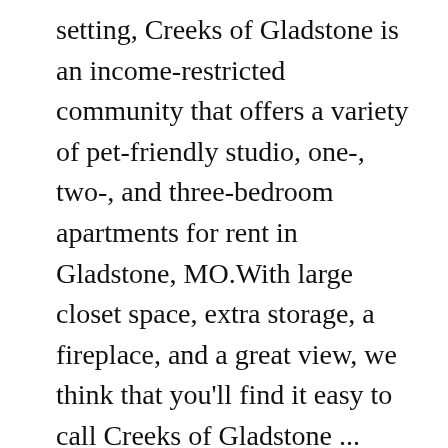setting, Creeks of Gladstone is an income-restricted community that offers a variety of pet-friendly studio, one-, two-, and three-bedroom apartments for rent in Gladstone, MO.With large closet space, extra storage, a fireplace, and a great view, we think that you'll find it easy to call Creeks of Gladstone ... Tools to help you see this property remotely: Many properties are now offering LIVE tours via FaceTime and other streaming apps. Send Home to. 9.45 acres . Please solve this CAPTCHA to request unblock to the website, You reached this page when trying to access STREET NAME. See 24 traveller reviews, 21 candid photos, and great deals for Colosseum Creek Motel, ranked #3 of 9 B&Bs / inns in